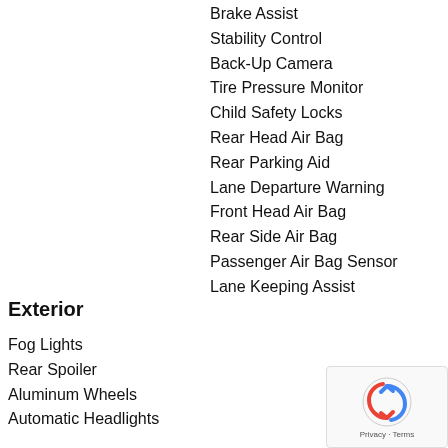Brake Assist
Stability Control
Back-Up Camera
Tire Pressure Monitor
Child Safety Locks
Rear Head Air Bag
Rear Parking Aid
Lane Departure Warning
Front Head Air Bag
Rear Side Air Bag
Passenger Air Bag Sensor
Lane Keeping Assist
Exterior
Fog Lights
Rear Spoiler
Aluminum Wheels
Automatic Headlights
[Figure (other): reCAPTCHA Privacy - Terms overlay badge]